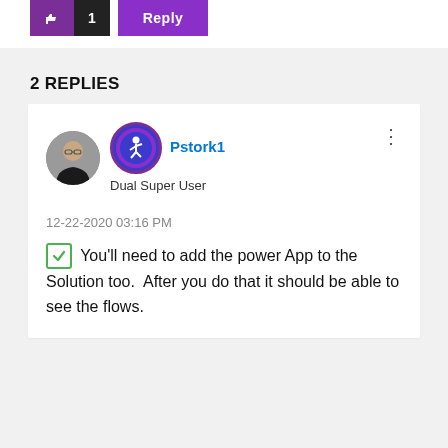[Figure (screenshot): Partial view of like button (purple with thumbs up icon and count '1') and Reply button (purple)]
2 REPLIES
[Figure (photo): User avatar photo of person with glasses and dark clothing, circular crop]
[Figure (illustration): Circular badge icon with purple border and blue background showing a running/flying figure]
Pstork1
Dual Super User
12-22-2020 03:16 PM
You'll need to add the power App to the Solution too.  After you do that it should be able to see the flows.